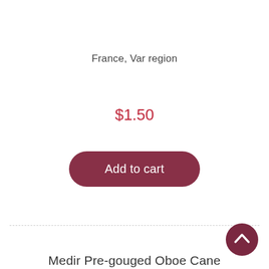France, Var region
$1.50
Add to cart
Medir Pre-gouged Oboe Cane